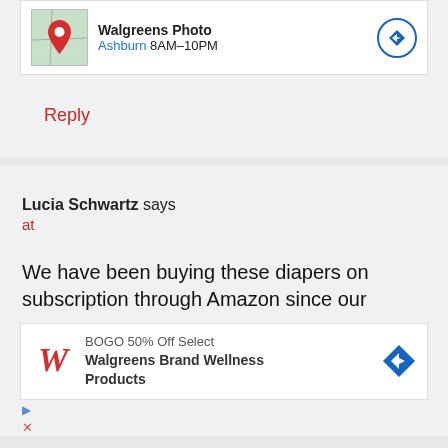[Figure (screenshot): Walgreens Photo ad with map thumbnail showing Ashburn location, 8AM-10PM hours, and navigation arrow button]
Reply
Lucia Schwartz says
at
We have been buying these diapers on subscription through Amazon since our
[Figure (screenshot): Walgreens ad: BOGO 50% Off Select Walgreens Brand Wellness Products with Walgreens logo and navigation diamond button]